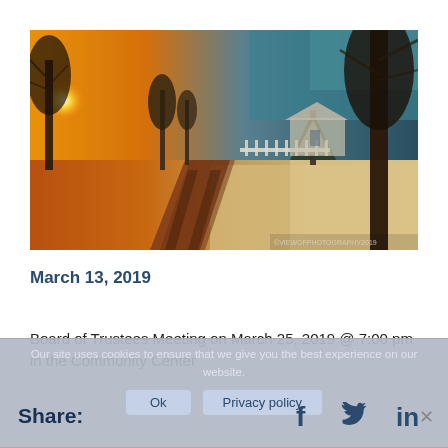[Figure (photo): Winter scene photo showing a snowy road with bare trees, warm golden sunset light on the left side, snow-covered ground, white fence and house visible in the background, teal/blue sky. Wide panoramic shot.]
March 13, 2019
Board of Trustees Meeting on March 25, 2019 @ 7:00 pm in the Community Center
Our site uses cookies to ensure that we give you the best experience on our website.
Share: